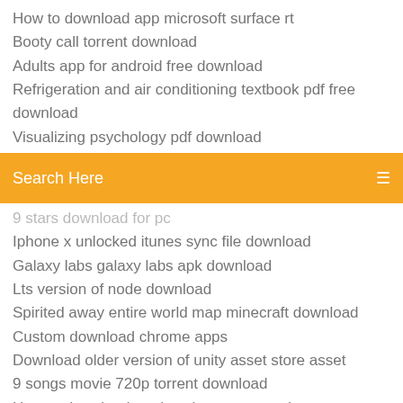How to download app microsoft surface rt
Booty call torrent download
Adults app for android free download
Refrigeration and air conditioning textbook pdf free download
Visualizing psychology pdf download
[Figure (screenshot): Orange/amber search bar with text 'Search Here' and a menu icon on the right]
9 stars download for pc
Iphone x unlocked itunes sync file download
Galaxy labs galaxy labs apk download
Lts version of node download
Spirited away entire world map minecraft download
Custom download chrome apps
Download older version of unity asset store asset
9 songs movie 720p torrent download
How to download mods using nexus mod
Lenovo wacom pen settings app download
Tiger woods pga tour 2008 pc download